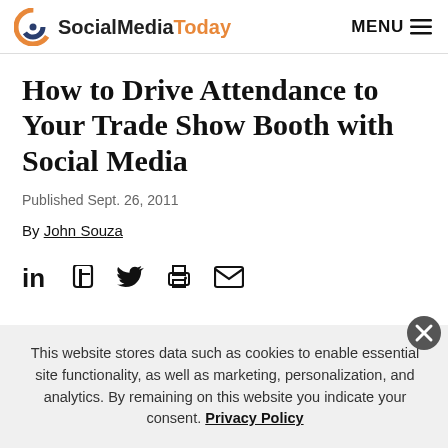SocialMediaToday | MENU
How to Drive Attendance to Your Trade Show Booth with Social Media
Published Sept. 26, 2011
By John Souza
[Figure (infographic): Social sharing icons row: LinkedIn, Facebook, Twitter, Print, Email]
This website stores data such as cookies to enable essential site functionality, as well as marketing, personalization, and analytics. By remaining on this website you indicate your consent. Privacy Policy